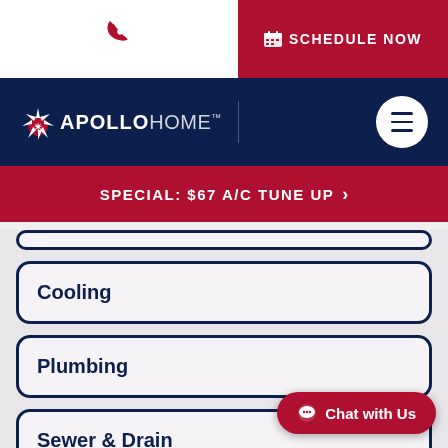[Figure (screenshot): Phone icon in red on white background (top-left header area)]
SCHEDULE NOW
[Figure (logo): Apollo Home logo with sunburst icon and text APOLLO HOME TM on dark navy background]
SPECIAL: $67 A/C TUNE UP >
Cooling
Plumbing
Sewer & Drain
Electrical
Chat with Us